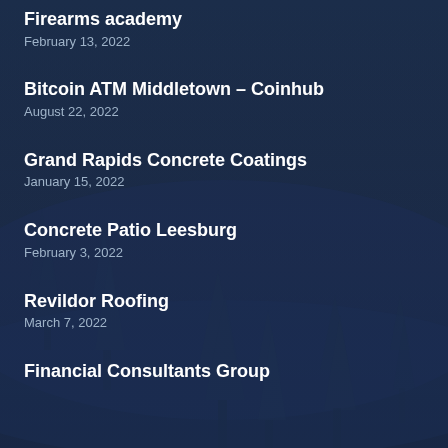Firearms academy
February 13, 2022
Bitcoin ATM Middletown – Coinhub
August 22, 2022
Grand Rapids Concrete Coatings
January 15, 2022
Concrete Patio Leesburg
February 3, 2022
Revildor Roofing
March 7, 2022
Financial Consultants Group